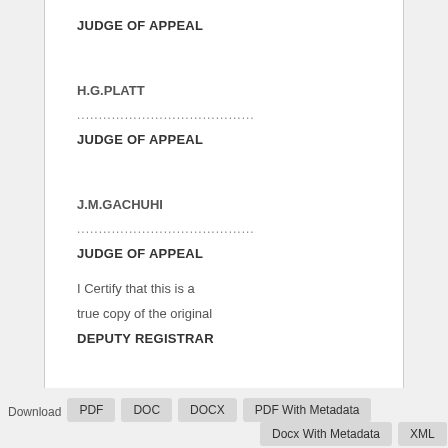JUDGE OF APPEAL
H.G.PLATT
......................................
JUDGE OF APPEAL
J.M.GACHUHI
......................................
JUDGE OF APPEAL
I Certify that this is a true copy of the original
DEPUTY REGISTRAR
Download  PDF  DOC  DOCX  PDF With Metadata  Docx With Metadata  XML